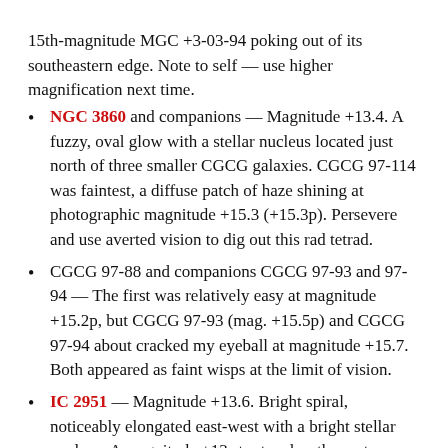15th-magnitude MGC +3-03-94 poking out of its southeastern edge. Note to self — use higher magnification next time.
NGC 3860 and companions — Magnitude +13.4. A fuzzy, oval glow with a stellar nucleus located just north of three smaller CGCG galaxies. CGCG 97-114 was faintest, a diffuse patch of haze shining at photographic magnitude +15.3 (+15.3p). Persevere and use averted vision to dig out this rad tetrad.
CGCG 97-88 and companions CGCG 97-93 and 97-94 — The first was relatively easy at magnitude +15.2p, but CGCG 97-93 (mag. +15.5p) and CGCG 97-94 about cracked my eyeball at magnitude +15.7. Both appeared as faint wisps at the limit of vision.
IC 2951 — Magnitude +13.6. Bright spiral, noticeably elongated east-west with a bright stellar nucleus. A magnitude +13 star touches the eastern end. Smaller, fainter but similarly elongated UGC 6683 lies 1′ to the west. Nice pair!